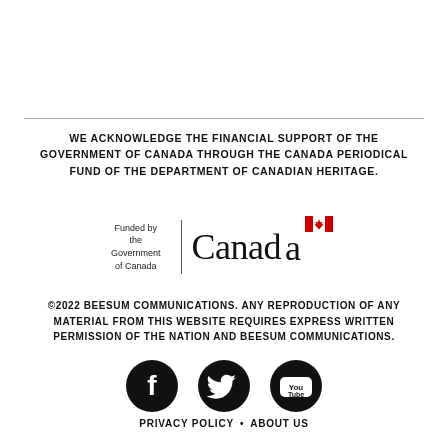WE ACKNOWLEDGE THE FINANCIAL SUPPORT OF THE GOVERNMENT OF CANADA THROUGH THE CANADA PERIODICAL FUND OF THE DEPARTMENT OF CANADIAN HERITAGE.
[Figure (logo): Government of Canada 'Funded by the Government of Canada | Canada' wordmark logo with maple leaf flag symbol]
©2022 BEESUM COMMUNICATIONS. ANY REPRODUCTION OF ANY MATERIAL FROM THIS WEBSITE REQUIRES EXPRESS WRITTEN PERMISSION OF THE NATION AND BEESUM COMMUNICATIONS.
[Figure (other): Social media icons: Facebook, Twitter, YouTube]
PRIVACY POLICY • ABOUT US